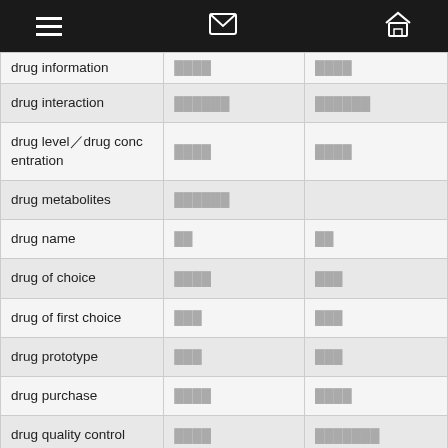| Term | Col2 | Col3 |
| --- | --- | --- |
| drug information | ████ | ████ |
| drug interaction | ██████ | ██████ |
| drug level／drug concentration | ████ | ████ |
| drug metabolites | ██████ |  |
| drug name | ██ | ██ |
| drug of choice | ████ | ███ |
| drug of first choice | ███ | ███ |
| drug prototype | ███ | ███ |
| drug purchase | ████ | ████ |
| drug quality control | ████ | ███████ |
| drug release | ████ | ████ |